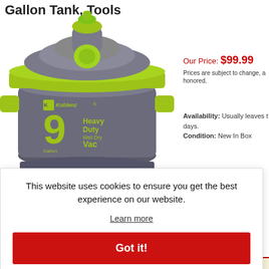Gallon Tank, Tools
[Figure (photo): Koblenz 9 Gallon Heavy Duty Wet/Dry Vac product photo - gray cylindrical vacuum with yellow-green lid and accents]
Our Price: $99.99
Prices are subject to change, a honored.
Availability: Usually leaves t days.
Condition: New In Box
This website uses cookies to ensure you get the best experience on our website.
Learn more
Got it!
w , tools, 8